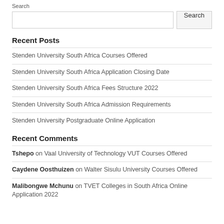Search
Recent Posts
Stenden University South Africa Courses Offered
Stenden University South Africa Application Closing Date
Stenden University South Africa Fees Structure 2022
Stenden University South Africa Admission Requirements
Stenden University Postgraduate Online Application
Recent Comments
Tshepo on Vaal University of Technology VUT Courses Offered
Caydene Oosthuizen on Walter Sisulu University Courses Offered
Malibongwe Mchunu on TVET Colleges in South Africa Online Application 2022